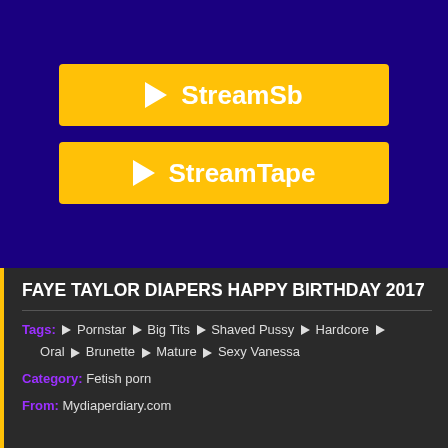[Figure (other): Two golden/yellow play buttons on dark navy background: StreamSb and StreamTape]
FAYE TAYLOR DIAPERS HAPPY BIRTHDAY 2017
Tags: Pornstar Big Tits Shaved Pussy Hardcore Oral Brunette Mature Sexy Vanessa
Category: Fetish porn
From: Mydiaperdiary.com